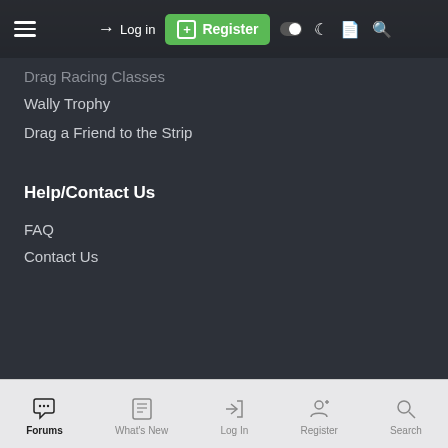Log in | Register
Drag Racing Classes
Wally Trophy
Drag a Friend to the Strip
Help/Contact Us
FAQ
Contact Us
Dimension | English (US) | Contact us | Terms and rules | Privacy policy | Help | Community platform by XenForo® © 2010-2022 XenForo Ltd. | XenPorta 2 PRO © Jason Axelrod of 8WAYRUN
Forums | What's New | Log In | Register | Search